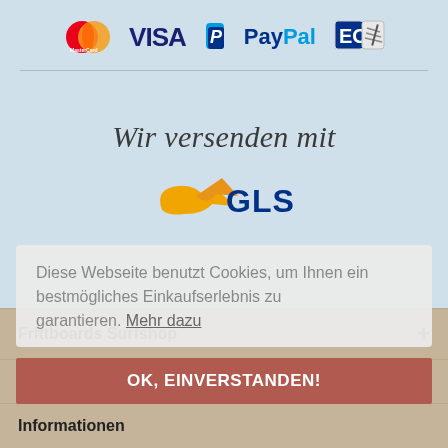[Figure (logo): Payment method logos: MasterCard, VISA, PayPal, EC/direct debit with pen icon]
Wir versenden mit
[Figure (logo): GLS parcel service logo with yellow arrow and blue GLS text]
Diese Webseite benutzt Cookies, um Ihnen ein bestmögliches Einkaufserlebnis zu garantieren. Mehr dazu
OK, EINVERSTANDEN!
Frittboards Surfshop
Shop Service
Informationen